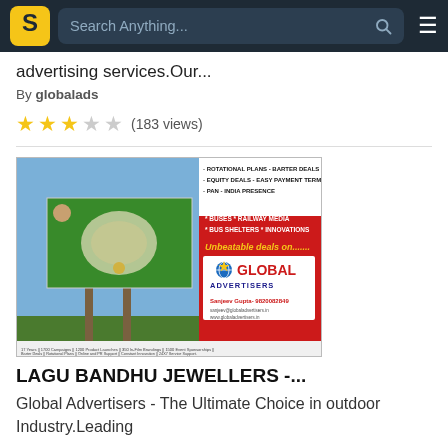Search Anything...
advertising services.Our...
By globalads
★★★☆☆ (183 views)
[Figure (photo): Global Advertisers outdoor advertising promotional image showing a billboard with jewelry advertisement and company services]
LAGU BANDHU JEWELLERS -...
Global Advertisers - The Ultimate Choice in outdoor Industry.Leading